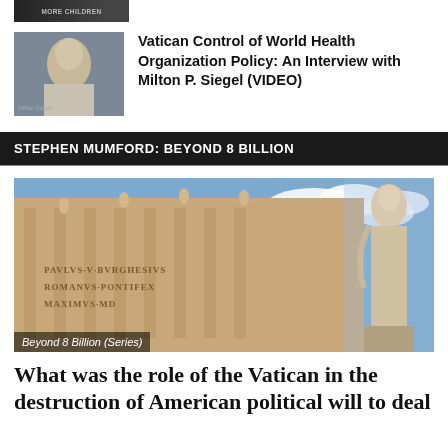[Figure (photo): Small dark thumbnail image at top, showing a dark image with text overlay 'MORE CHILDREN']
[Figure (photo): Thumbnail of an elderly man with glasses, captioned 'Milton Siegel']
Vatican Control of World Health Organization Policy: An Interview with Milton P. Siegel (VIDEO)
STEPHEN MUMFORD: BEYOND 8 BILLION
[Figure (photo): Photo of St. Peter's Basilica facade with Latin inscription PAVLVS V BVRGHESIVS ROMANVS PONTIFEX MAXIMVS and a statue in the foreground against a blue sky with clouds. Caption overlay reads 'Beyond 8 Billion (Series)']
Beyond 8 Billion (Series)
What was the role of the Vatican in the destruction of American political will to deal